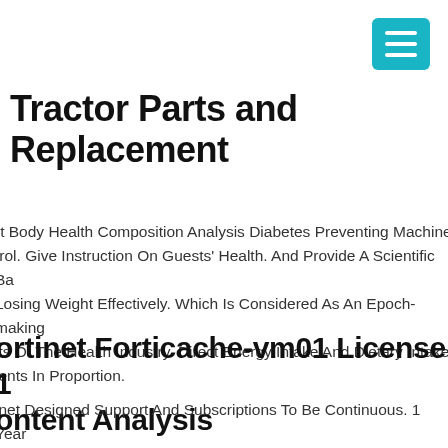[Figure (other): Teal/cyan hamburger menu button icon in top right corner]
Tractor Parts and Replacement
rt Body Health Composition Analysis Diabetes Preventing Machine trol. Give Instruction On Guests' Health. And Provide A Scientific Ba Losing Weight Effectively. Which Is Considered As An Epoch-making lts Of The Health Industry. Direct Energy Intake And Dietary Intake ients In Proportion.
ortinet Forticache-vm01 License 1 ontent Analysis
inet Designed Support And Subscriptions To Be Continuous. 1 Year ent Analysis Service. Purchasing From Us Entitles You To These efits Data Security Is One Of Our Strengths. We Use The Latest yption Technology To Ensure Your Information Remains Secured A Will Not Send User Information, Therefore...